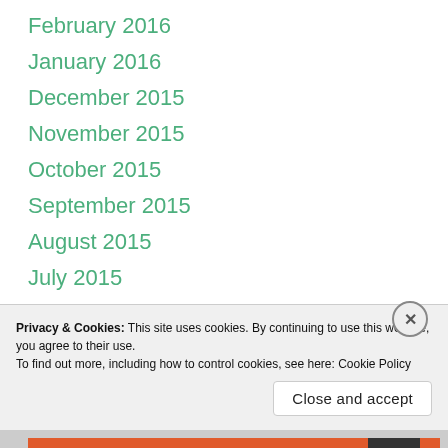February 2016
January 2016
December 2015
November 2015
October 2015
September 2015
August 2015
July 2015
June 2015
May 2015
April 2015
March 2015
Privacy & Cookies: This site uses cookies. By continuing to use this website, you agree to their use. To find out more, including how to control cookies, see here: Cookie Policy
Close and accept